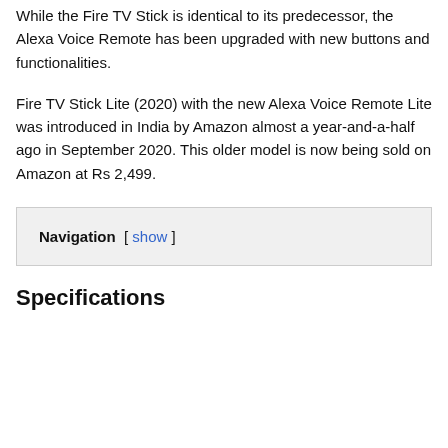While the Fire TV Stick is identical to its predecessor, the Alexa Voice Remote has been upgraded with new buttons and functionalities.
Fire TV Stick Lite (2020) with the new Alexa Voice Remote Lite was introduced in India by Amazon almost a year-and-a-half ago in September 2020. This older model is now being sold on Amazon at Rs 2,499.
Navigation [ show ]
Specifications